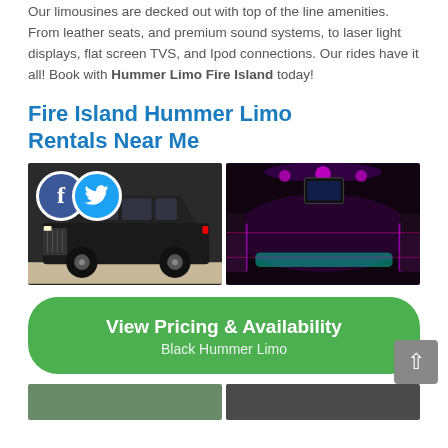Our limousines are decked out with top of the line amenities. From leather seats, and premium sound systems, to laser light displays, flat screen TVS, and Ipod connections. Our rides have it all! Book with Hummer Limo Fire Island today!
Fire Island Hummer Limo Rentals Near Me
[Figure (photo): Black stretch Hummer limousine parked outside, with Facebook and Twitter social media icons overlaid in top-left corner]
[Figure (photo): Interior of a party limousine with purple and teal LED lighting, seating visible along sides]
[Figure (other): Green rounded button reading 'View Pricing & Availability' with 'Black Hummer Limo' subtext]
[Figure (photo): Partially visible bottom images - two thumbnails cut off at page bottom]